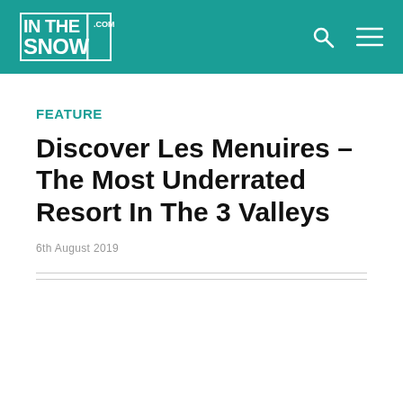INTHESNOW.COM
FEATURE
Discover Les Menuires – The Most Underrated Resort In The 3 Valleys
6th August 2019